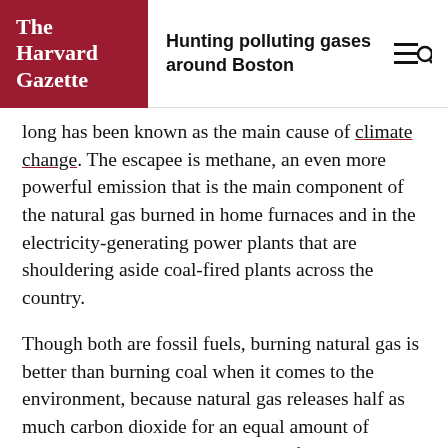The Harvard Gazette | Hunting polluting gases around Boston
long has been known as the main cause of climate change. The escapee is methane, an even more powerful emission that is the main component of the natural gas burned in home furnaces and in the electricity-generating power plants that are shouldering aside coal-fired plants across the country.
Though both are fossil fuels, burning natural gas is better than burning coal when it comes to the environment, because natural gas releases half as much carbon dioxide for an equal amount of energy generated. In addition, it is far cleaner than other pollutants in its burning, including in the fine particles that can cause health problems.
Unburned natural gas, however, is another story.